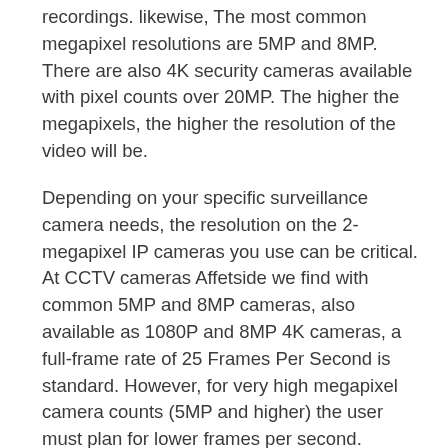recordings. likewise, The most common megapixel resolutions are 5MP and 8MP. There are also 4K security cameras available with pixel counts over 20MP. The higher the megapixels, the higher the resolution of the video will be.
Depending on your specific surveillance camera needs, the resolution on the 2-megapixel IP cameras you use can be critical. At CCTV cameras Affetside we find with common 5MP and 8MP cameras, also available as 1080P and 8MP 4K cameras, a full-frame rate of 25 Frames Per Second is standard. However, for very high megapixel camera counts (5MP and higher) the user must plan for lower frames per second. Because of an increase in network usage because of the high bandwidth which is required to transmit information to the camera.
is reason, CCTV cameras Affetside thinks it is ant to have a clear understanding of what resolution you need on a megapixel IP camera used in
[Figure (illustration): Orange circular phone/call icon button with white telephone handset symbol]